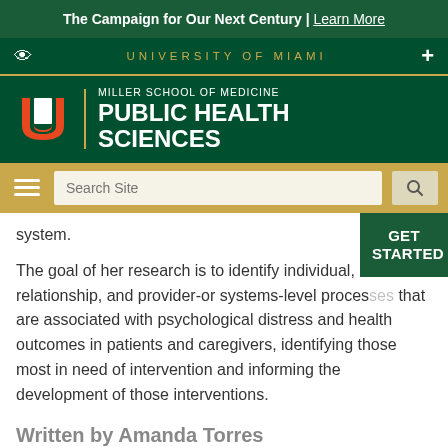The Campaign for Our Next Century | Learn More
UNIVERSITY OF MIAMI
[Figure (logo): University of Miami Miller School of Medicine Public Health Sciences logo with orange U and green background]
[Figure (screenshot): Navigation bar with hamburger menu, search box, and search button on gold background]
system.
The goal of her research is to identify individual, relationship, and provider-or systems-level processes that are associated with psychological distress and health outcomes in patients and caregivers, identifying those most in need of intervention and informing the development of those interventions.
Written by Amanda Torres